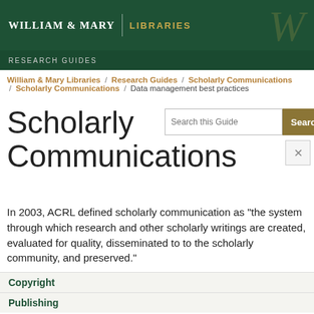WILLIAM & MARY | LIBRARIES
RESEARCH GUIDES
William & Mary Libraries / Research Guides / Scholarly Communications / Scholarly Communications / Data management best practices
Scholarly Communications
In 2003, ACRL defined scholarly communication as "the system through which research and other scholarly writings are created, evaluated for quality, disseminated to to the scholarly community, and preserved."
Copyright
Publishing